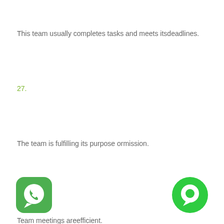This team usually completes tasks and meets itsdeadlines.
27.
The team is fulfilling its purpose ormission.
28.
Team meetings areefficient.
[Figure (logo): WhatsApp logo icon — green rounded square with white phone handset speech bubble]
[Figure (logo): Green circle chat bubble icon with white speech bubble]